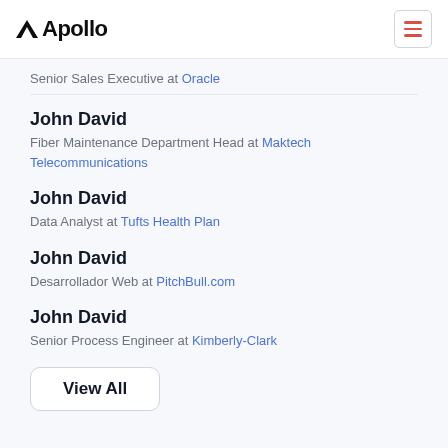Apollo
Senior Sales Executive at Oracle
John David
Fiber Maintenance Department Head at Maktech Telecommunications
John David
Data Analyst at Tufts Health Plan
John David
Desarrollador Web at PitchBull.com
John David
Senior Process Engineer at Kimberly-Clark
View All